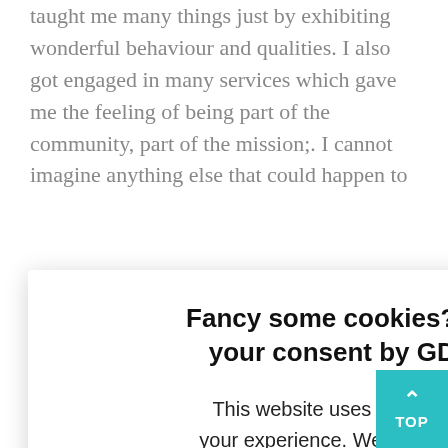taught me many things just by exhibiting wonderful behaviour and qualities. I also got engaged in many services which gave me the feeling of being part of the community, part of the mission;. I cannot imagine anything else that could happen to me to help me grow so much.
e and I thing; hat will
Fancy some cookies? We need your consent by GDPR law.
This website uses cookies to improve your experience. We'll assume you're ok with this, but you can opt-out if you wish. Cookie settings Click here to read our privacy policy
ACCEPT